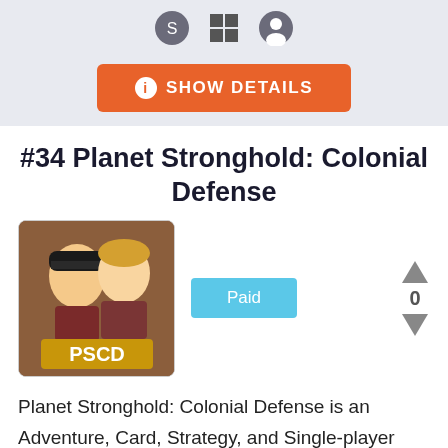[Figure (screenshot): Top bar with Steam, Windows, and user account icons on a light gray background]
[Figure (other): Orange 'SHOW DETAILS' button with info icon]
#34 Planet Stronghold: Colonial Defense
[Figure (illustration): Game thumbnail showing two anime-style characters (male and female) with 'PSCD' text logo at the bottom]
Paid
0
Planet Stronghold: Colonial Defense is an Adventure, Card, Strategy, and Single-player video game developed by Winter Wolves for Windows. Through the game, the player plays as a Captain who has to